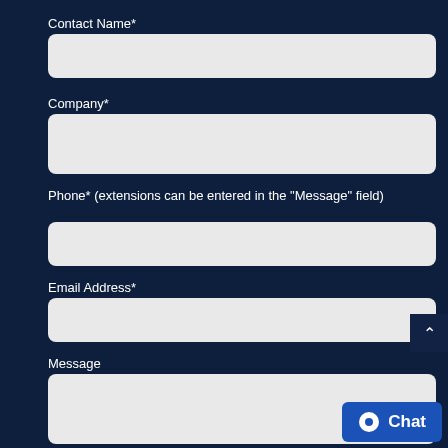Contact Name*
[Figure (other): Text input field for Contact Name]
Company*
[Figure (other): Text input field for Company]
Phone* (extensions can be entered in the "Message" field)
[Figure (other): Text input field for Phone]
Email Address*
[Figure (other): Text input field for Email Address]
Message
[Figure (other): Textarea input field for Message]
[Figure (other): Chat button with chat icon]